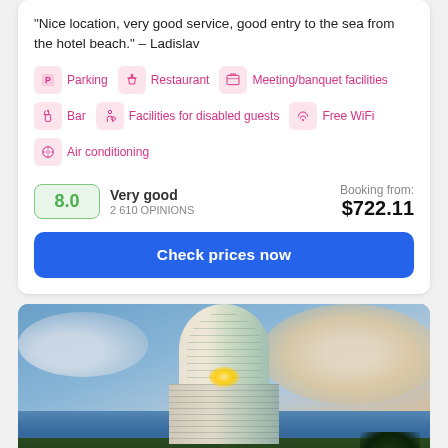"Nice location, very good service, good entry to the sea from the hotel beach." – Ladislav
Parking
Restaurant
Meeting/banquet facilities
Bar
Facilities for disabled guests
Free WiFi
Air conditioning
8.0 Very good 2 610 OPINIONS Booking from: $722.11
Check prices now
[Figure (photo): Exterior photo of a tall modern cylindrical/curved hotel building with glass facade, shot at dusk/sunset with dramatic cloudy sky, trees visible at base]